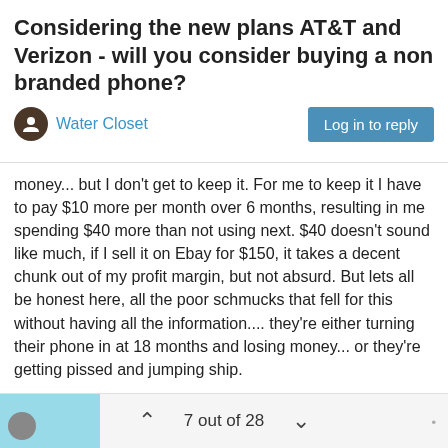Considering the new plans AT&T and Verizon - will you consider buying a non branded phone?
Water Closet
money... but I don't get to keep it. For me to keep it I have to pay $10 more per month over 6 months, resulting in me spending $40 more than not using next. $40 doesn't sound like much, if I sell it on Ebay for $150, it takes a decent chunk out of my profit margin, but not absurd. But lets all be honest here, all the poor schmucks that fell for this without having all the information.... they're either turning their phone in at 18 months and losing money... or they're getting pissed and jumping ship.
You may get a new phone in 18 months, but AT&T gets a refurbished phone they can turn around and sell for $400+ so they can turn an extra profit at the expense of people who don't read between the lines... and their salesmen have been trained to tell you how it saves you money... and that's the worst part in my opinion.
7 out of 28